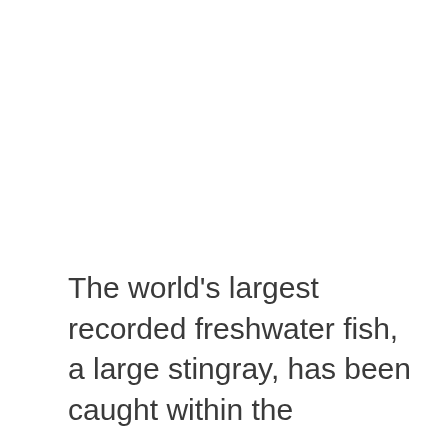The world's largest recorded freshwater fish, a large stingray, has been caught within the